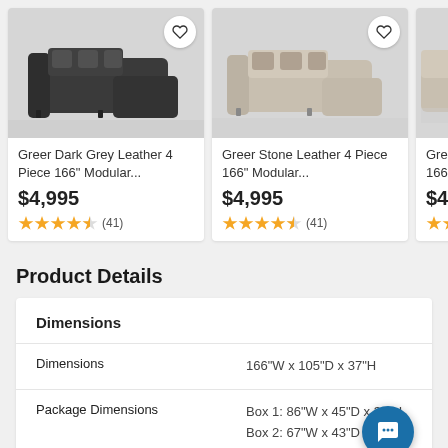[Figure (photo): Product card: Greer Dark Grey Leather 4 Piece 166" Modular... sofa image with heart icon, price $4,995, rating 4.5 stars (41)]
[Figure (photo): Product card: Greer Stone Leather 4 Piece 166" Modular... sofa image with heart icon, price $4,995, rating 4.5 stars (41)]
[Figure (photo): Product card: Greer Stone Piece 166" partial sofa image, price $4,995, rating 4.5 stars partial]
Product Details
|  |  |
| --- | --- |
| Dimensions | 166"W x 105"D x 37"H |
| Package Dimensions | Box 1: 86"W x 45"D x 38"H
Box 2: 67"W x 43"D x 38"H
Box 3: 44"W x 72"D x 38"H |